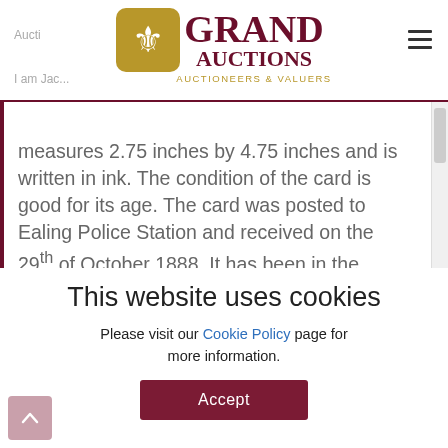[Figure (logo): Grand Auctions logo with fleur-de-lis icon and text 'GRAND AUCTIONS AUCTIONEERS & VALUERS']
Auction...
I am Jac...
measures 2.75 inches by 4.75 inches and is written in ink. The condition of the card is good for its age. The card was posted to Ealing Police Station and received on the 29th of October 1888. It has been in the
This website uses cookies
Please visit our Cookie Policy page for more information.
Accept